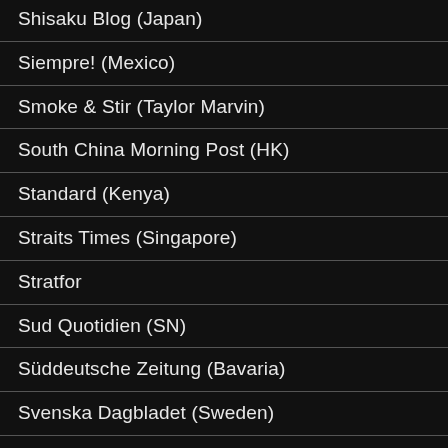Shisaku Blog (Japan)
Siempre! (Mexico)
Smoke & Stir (Taylor Marvin)
South China Morning Post (HK)
Standard (Kenya)
Straits Times (Singapore)
Stratfor
Sud Quotidien (SN)
Süddeutsche Zeitung (Bavaria)
Svenska Dagbladet (Sweden)
Sydney Morning Herald
Taipei Times
Tehran Times